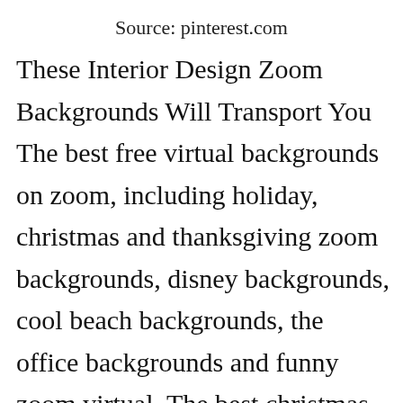Source: pinterest.com
These Interior Design Zoom Backgrounds Will Transport You The best free virtual backgrounds on zoom, including holiday, christmas and thanksgiving zoom backgrounds, disney backgrounds, cool beach backgrounds, the office backgrounds and funny zoom virtual. The best christmas zoom backgrounds to make your holiday merry and bright, from disney world to christmas villages and more. The same can be said for making a [icon]hristmas eggnog.